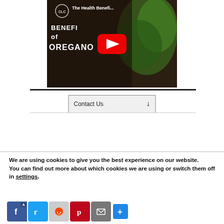[Figure (screenshot): YouTube video thumbnail for 'The Health Benefi...' about Oregano, with CLC badge, red YouTube play button, dark background with herb imagery and text 'BENEFITS of OREGANO']
Contact Us ∨
We are using cookies to give you the best experience on our website.
You can find out more about which cookies we are using or switch them off in settings.
[Figure (screenshot): Social sharing buttons row: Facebook (blue), Twitter (blue), Reddit (grey), Pinterest (red), Email (grey), Plus/more (blue)]